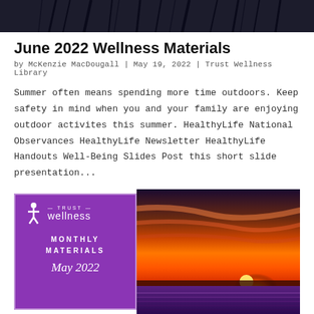[Figure (photo): Top portion of image showing dark abstract lines or reeds against a dark background]
June 2022 Wellness Materials
by McKenzie MacDougall | May 19, 2022 | Trust Wellness Library
Summer often means spending more time outdoors. Keep safety in mind when you and your family are enjoying outdoor activites this summer. HealthyLife National Observances HealthyLife Newsletter HealthyLife Handouts Well-Being Slides Post this short slide presentation...
[Figure (photo): Trust Wellness Monthly Materials May 2022 promotional image with purple branding on left and sunset/lavender field photography on right]